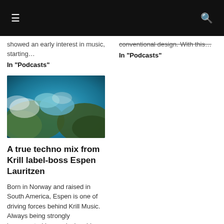≡  [navigation bar]  🔍
showed an early interest in music, starting…
In "Podcasts"
conventional design. With this…
In "Podcasts"
[Figure (photo): Aerial satellite view of coastal archipelago with turquoise water, green land masses, and white clouds]
A true techno mix from Krill label-boss Espen Lauritzen
Born in Norway and raised in South America, Espen is one of driving forces behind Krill Music. Always being strongly impregnated by music, in mid-2000 he became a regular DJ at Cocoliche, Buenos Aires. This is